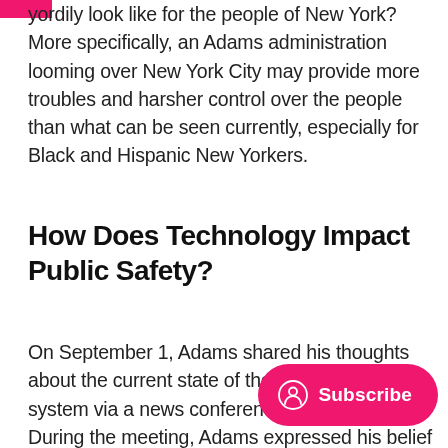…yordily look like for the people of New York? More specifically, an Adams administration looming over New York City may provide more troubles and harsher control over the people than what can be seen currently, especially for Black and Hispanic New Yorkers.
How Does Technology Impact Public Safety?
On September 1, Adams shared his thoughts about the current state of the city's justice system via a news conference in Brooklyn. During the meeting, Adams expressed his belief that crime in the city, coming from various sources, is at state due to inefficiencies in the general public safety infrastructure.